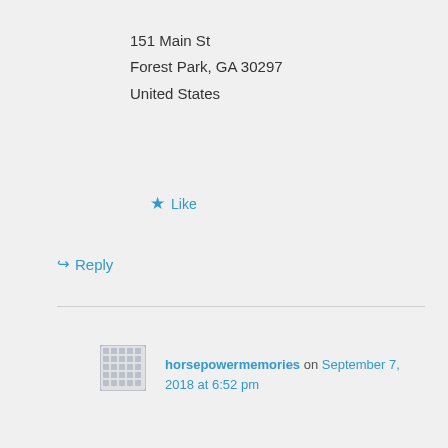151 Main St
Forest Park, GA 30297
United States
★ Like
↪ Reply
horsepowermemories on September 7, 2018 at 6:52 pm
Thank you!
★ Like
Advertisements
[Figure (photo): Ulta beauty advertisement banner showing makeup and cosmetics images with SHOP NOW text]